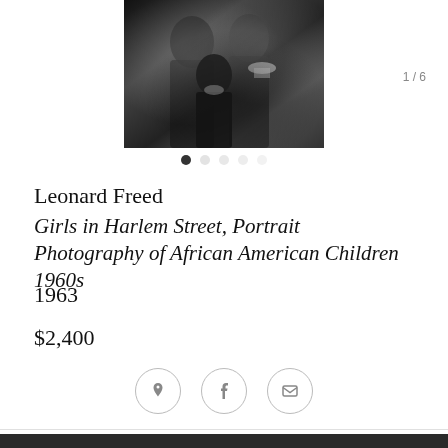[Figure (photo): Black and white photograph of girls in a Harlem street scene, showing African American children in 1960s clothing]
1 / 6
Leonard Freed
Girls in Harlem Street, Portrait Photography of African American Children 1960s
1963
$2,400
Questions about this piece?